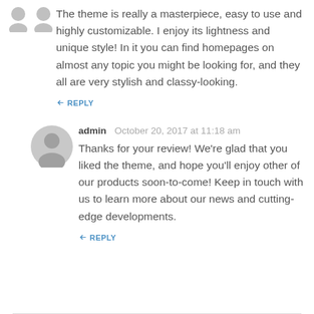The theme is really a masterpiece, easy to use and highly customizable. I enjoy its lightness and unique style! In it you can find homepages on almost any topic you might be looking for, and they all are very stylish and classy-looking.
REPLY
admin   October 20, 2017 at 11:18 am
Thanks for your review! We're glad that you liked the theme, and hope you'll enjoy other of our products soon-to-come! Keep in touch with us to learn more about our news and cutting-edge developments.
REPLY